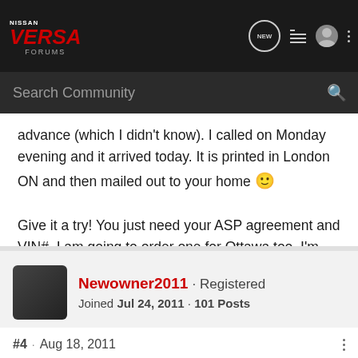Nissan Versa Forums
advance (which I didn't know). I called on Monday evening and it arrived today. It is printed in London ON and then mailed out to your home 🙂

Give it a try! You just need your ASP agreement and VIN#. I am going to order one for Ottawa too. I'm thinking of driving there when I get back.
Newowner2011 · Registered
Joined Jul 24, 2011 · 101 Posts
#4 · Aug 18, 2011